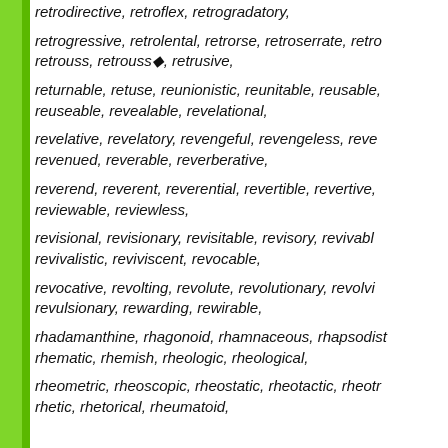retrodirective, retroflex, retrogradatory,
retrogressive, retrolental, retrorse, retroserrate, retrouss, retrouss◆, retrusive,
returnable, retuse, reunionistic, reunitable, reusable, reuseable, revealable, revelational,
revelative, revelatory, revengeful, revengeless, revenued, reverable, reverberative,
reverend, reverent, reverential, revertible, revertive, reviewable, reviewless,
revisional, revisionary, revisitable, revisory, revivable, revivalistic, reviviscent, revocable,
revocative, revolting, revolute, revolutionary, revolving, revulsionary, rewarding, rewirable,
rhadamanthine, rhagonoid, rhamnaceous, rhapsodistic, rhematic, rhemish, rheologic, rheological,
rheometric, rheoscopic, rheostatic, rheotactic, rheotropic, rhetic, rhetorical, rheumatoid,